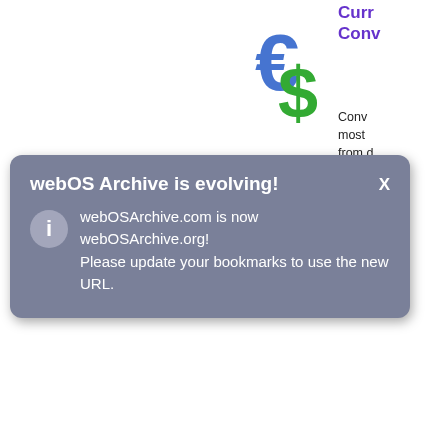[Figure (illustration): Currency converter app icon showing overlapping blue Euro sign and green Dollar sign]
Curr Conv
Conv most from with t butto excha Yaho
[Figure (illustration): Currency exchange app icon showing fan of paper money bills with $£€¥ symbols in red/white text on purple rounded-square background]
Curr Exch Lite
Get c conve profe excha provi curre pocke ahea
webOS Archive is evolving!
webOSArchive.com is now webOSArchive.org! Please update your bookmarks to use the new URL.